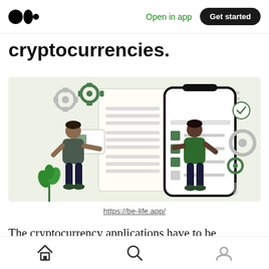Medium logo | Open in app | Get started
cryptocurrencies.
[Figure (illustration): Illustration of two people interacting with a large smartphone showing a checklist/app interface, surrounded by gear icons and UI elements on a light green background. Context relates to cryptocurrency applications.]
https://be-life.app/
The cryptocurrency applications have to be
Home | Search | Profile icons